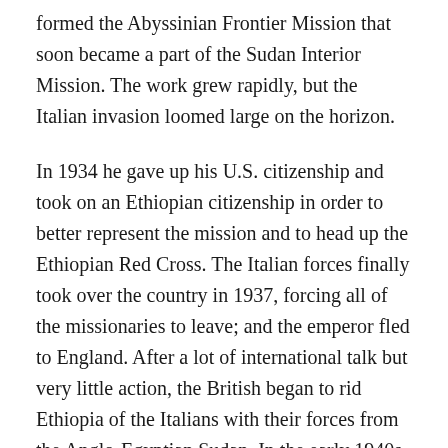formed the Abyssinian Frontier Mission that soon became a part of the Sudan Interior Mission. The work grew rapidly, but the Italian invasion loomed large on the horizon.
In 1934 he gave up his U.S. citizenship and took on an Ethiopian citizenship in order to better represent the mission and to head up the Ethiopian Red Cross. The Italian forces finally took over the country in 1937, forcing all of the missionaries to leave; and the emperor fled to England. After a lot of international talk but very little action, the British began to rid Ethiopia of the Italians with their forces from the Anglo-Egyptian Sudan. In the early 1940s, the emperor was able to return. Along with him was the return of the missionaries.
The years of privation and constant travel under very difficult circumstances led to severe health problems